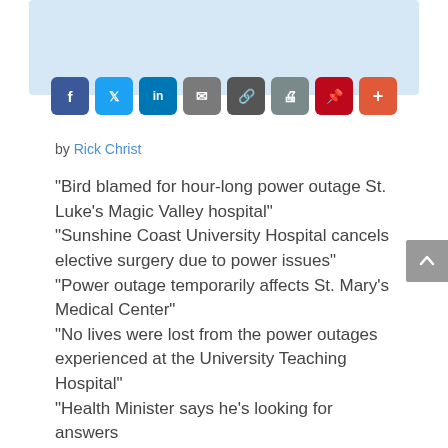[Figure (other): Light blue image placeholder area at top of page]
[Figure (infographic): Social sharing buttons row: Facebook, Twitter, LinkedIn, Email, Link, Print, Pinterest, More]
by Rick Christ
“Bird blamed for hour-long power outage St. Luke’s Magic Valley hospital” “Sunshine Coast University Hospital cancels elective surgery due to power issues” “Power outage temporarily affects St. Mary’s Medical Center” “No lives were lost from the power outages experienced at the University Teaching Hospital” “Health Minister says he’s looking for answers